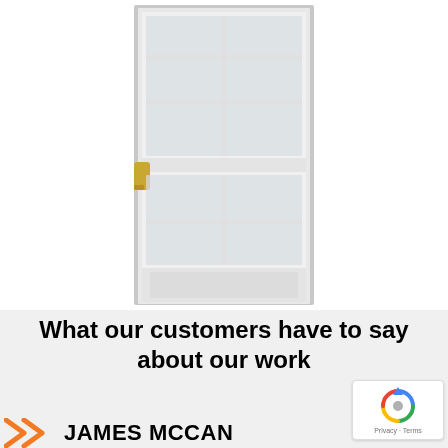[Figure (photo): White storm door with decorative glass panels, brass door handle/lever on the left side, shown against a white background]
What our customers have to say about our work
[Figure (logo): Google reCAPTCHA badge with blue circular arrow icon and text 'Privacy - Terms']
JAMES MCCAN